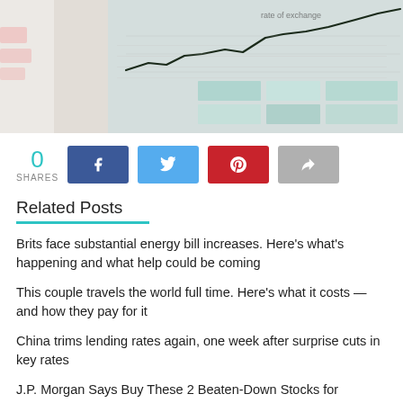[Figure (photo): Close-up photo of a financial newspaper or report showing a line chart (rate of exchange) and green/teal data table cells]
0
SHARES
[Figure (infographic): Social share buttons: Facebook (dark blue), Twitter (light blue), Pinterest (red), Share (grey)]
Related Posts
Brits face substantial energy bill increases. Here's what's happening and what help could be coming
This couple travels the world full time. Here's what it costs — and how they pay for it
China trims lending rates again, one week after surprise cuts in key rates
J.P. Morgan Says Buy These 2 Beaten-Down Stocks for